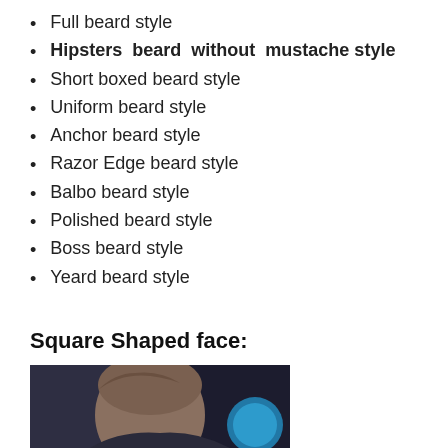Full beard style
Hipsters beard without mustache style
Short boxed beard style
Uniform beard style
Anchor beard style
Razor Edge beard style
Balbo beard style
Polished beard style
Boss beard style
Yeard beard style
Square Shaped face:
[Figure (photo): Photo of a person's head showing hair style, with a blue blurred circle in background, dark background]